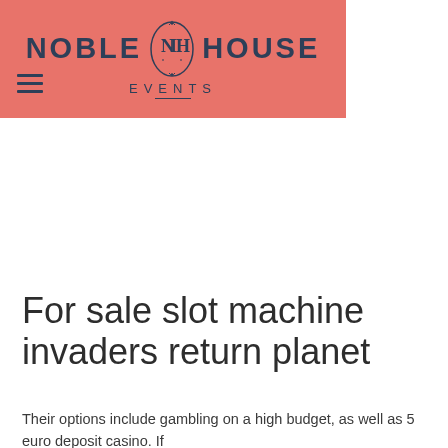[Figure (logo): Noble House Events logo on salmon/coral background with ornate monogram emblem between the words NOBLE and HOUSE, with EVENTS text below]
For sale slot machine invaders return planet
Their options include gambling on a high budget, as well as 5 euro deposit casino. If